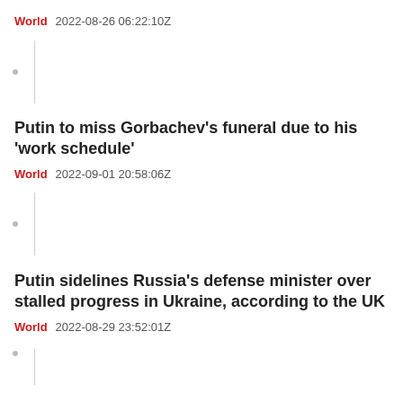World   2022-08-26 06:22:10Z
[Figure (other): Thumbnail placeholder with dot and vertical line]
Putin to miss Gorbachev's funeral due to his 'work schedule'
World   2022-09-01 20:58:06Z
[Figure (other): Thumbnail placeholder with dot and vertical line]
Putin sidelines Russia's defense minister over stalled progress in Ukraine, according to the UK
World   2022-08-29 23:52:01Z
[Figure (other): Thumbnail placeholder with dot and vertical line (partial)]